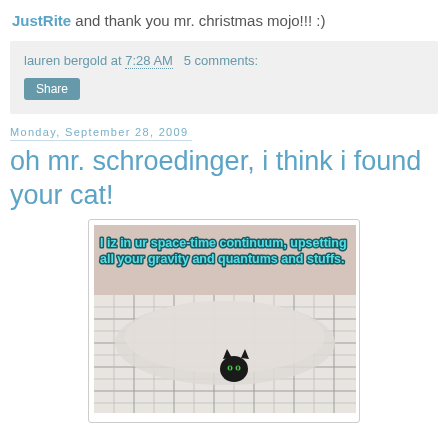JustRite and thank you mr. christmas mojo!!! :)
lauren bergold at 7:28 AM   5 comments:
Share
Monday, September 28, 2009
oh mr. schroedinger, i think i found your cat!
[Figure (photo): A lolcat meme image showing a black cat peeking out from under a plaid/checkered bedsheet or blanket. Text overlay reads: 'I iz in ur space-time continuum, upsetting all your gravity and quantums and stuffs.']